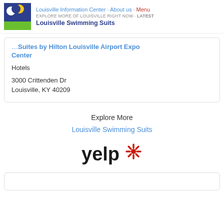Louisville Information Center · About us · Menu
EXPLORE MORE OF LOUISVILLE RIGHT NOW · Latest
Louisville Swimming Suits
…Suites by Hilton Louisville Airport Expo Center
Hotels
3000 Crittenden Dr
Louisville, KY 40209
Explore More
Louisville Swimming Suits
[Figure (logo): Yelp logo with red asterisk/burst icon]